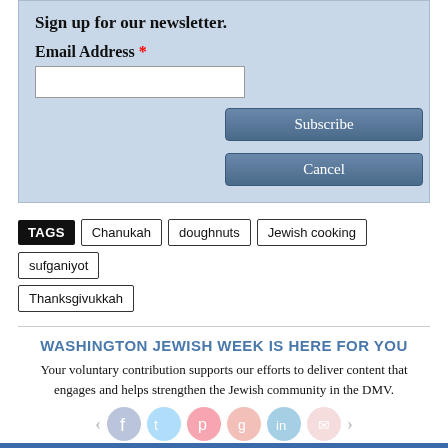Sign up for our newsletter.
Email Address *
Subscribe
Cancel
TAGS  Chanukah  doughnuts  Jewish cooking  sufganiyot
Thanksgivukkah
WASHINGTON JEWISH WEEK IS HERE FOR YOU
Your voluntary contribution supports our efforts to deliver content that engages and helps strengthen the Jewish community in the DMV.
CONTRIBUTE